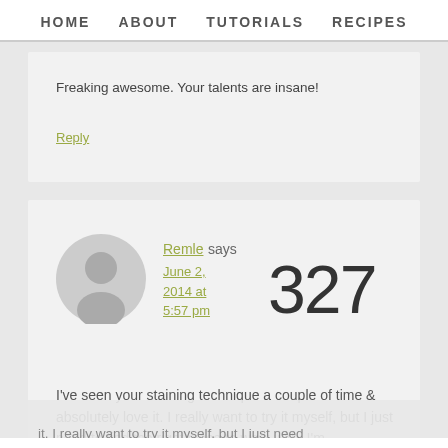HOME   ABOUT   TUTORIALS   RECIPES
Freaking awesome. Your talents are insane!
Reply
Remle says
June 2, 2014 at 5:57 pm
327
I've seen your staining technique a couple of time & absolutely love it. I really want to try it myself, but I just need to find the right piece to work with. I'm